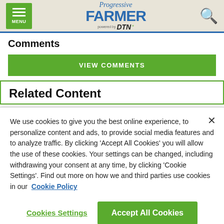[Figure (screenshot): Progressive Farmer powered by DTN website header with green menu button, logo, and search icon]
Comments
VIEW COMMENTS
Related Content
We use cookies to give you the best online experience, to personalize content and ads, to provide social media features and to analyze traffic. By clicking 'Accept All Cookies' you will allow the use of these cookies. Your settings can be changed, including withdrawing your consent at any time, by clicking 'Cookie Settings'. Find out more on how we and third parties use cookies in our Cookie Policy
Cookies Settings
Accept All Cookies